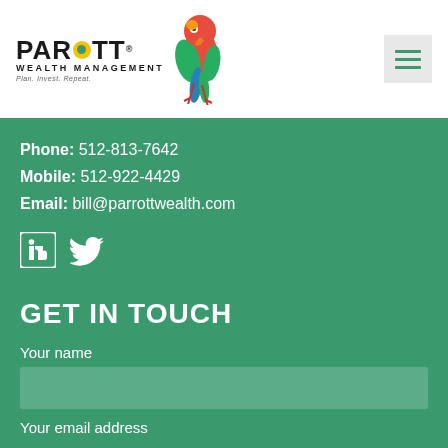[Figure (logo): Parrott Wealth Management logo with colorful parrot bird illustration and text 'PARROTT WEALTH MANAGEMENT - Plan. Invest. Repeat.']
Phone: 512-813-7642
Mobile: 512-922-4429
Email: bill@parrottwealth.com
[Figure (illustration): LinkedIn and Twitter social media icons in white on teal background]
GET IN TOUCH
Your name
Your email address